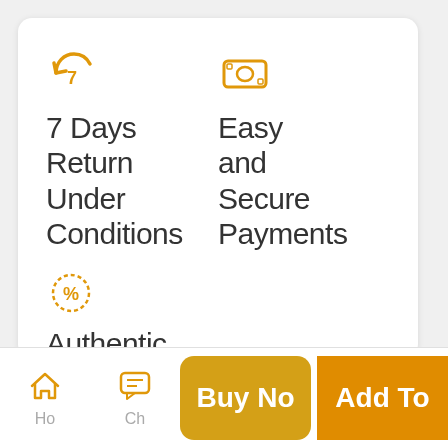[Figure (illustration): Orange return/refresh icon (circular arrow with 7)]
7 Days Return Under Conditions
[Figure (illustration): Orange cash/money icon (rectangle with oval in center)]
Easy and Secure Payments
[Figure (illustration): Orange percent icon (dotted circle with percent sign)]
Authentic Product
[Figure (infographic): Bottom navigation bar with Home icon, Chat icon, Buy Now button, and Add To button]